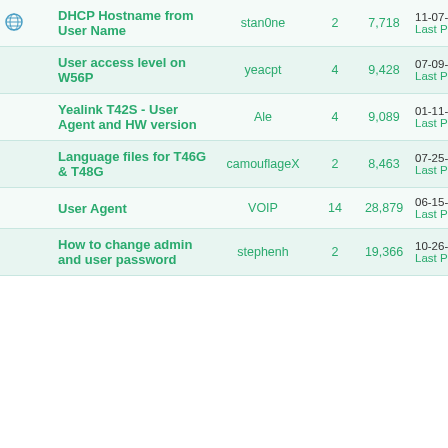| Topic | Author | Replies | Views | Last Post |
| --- | --- | --- | --- | --- |
| DHCP Hostname from User Name | stan0ne | 2 | 7,718 | 11-07-2018 10:54 AM
Last Post: stan0ne |
| User access level on W56P | yeacpt | 4 | 9,428 | 07-09-2018 11:36 PM
Last Post: bruno |
| Yealink T42S - User Agent and HW version | Ale | 4 | 9,089 | 01-11-2018 09:48 AM
Last Post: Ale |
| Language files for T46G & T48G | camouflageX | 2 | 8,463 | 07-25-2017 06:53 PM
Last Post: Kamik |
| User Agent | VOIP | 14 | 28,879 | 06-15-2017 03:07 AM
Last Post: Karl_Yealink |
| How to change admin and user password | stephenh | 2 | 19,366 | 10-26-2016 10:37 AM
Last Post: oooinzn |